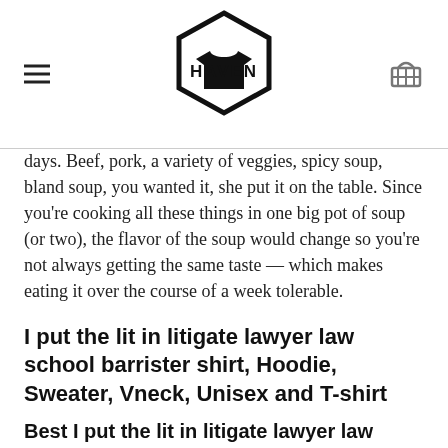HAVEN
days. Beef, pork, a variety of veggies, spicy soup, bland soup, you wanted it, she put it on the table. Since you're cooking all these things in one big pot of soup (or two), the flavor of the soup would change so you're not always getting the same taste — which makes eating it over the course of a week tolerable.
I put the lit in litigate lawyer law school barrister shirt, Hoodie, Sweater, Vneck, Unisex and T-shirt
Best I put the lit in litigate lawyer law school barrister shirt
Get your finances in order and make sure your account balance is positive. Look after your finances and I put the lit in litigate lawyer law school barrister shirt